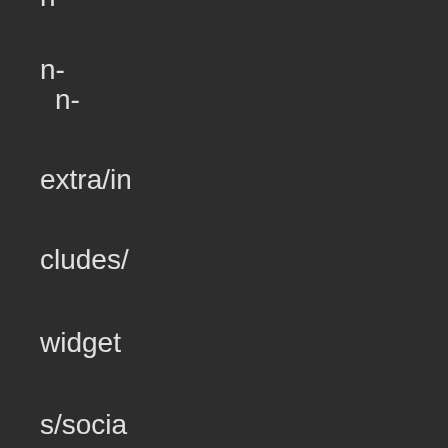n-extra/includes/widgets/social.php(350): Ocean